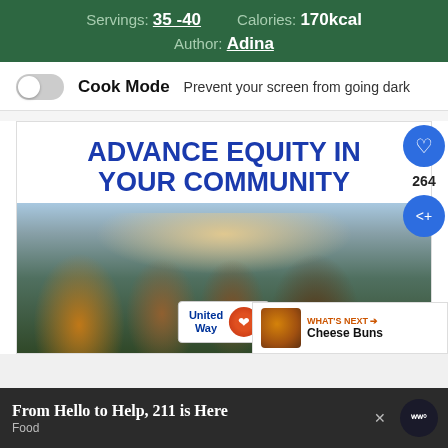Servings: 35 -40    Calories: 170kcal
Author: Adina
Cook Mode  Prevent your screen from going dark
[Figure (screenshot): Advertisement for United Way: 'ADVANCE EQUITY IN YOUR COMMUNITY' with a photo of a smiling family and United Way logo]
264
WHAT'S NEXT → Cheese Buns
[Figure (screenshot): Bottom banner ad: 'From Hello to Help, 211 is Here' with subtitle 'Food' and a close X button, with a Wealthsimple-style logo on the right]